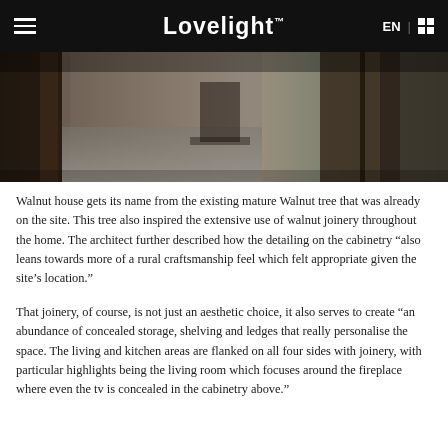Lovelight EN
[Figure (photo): Interior photo of a room with dark walnut wood joinery, concrete floor, and a hallway with natural light]
Walnut house gets its name from the existing mature Walnut tree that was already on the site. This tree also inspired the extensive use of walnut joinery throughout the home. The architect further described how the detailing on the cabinetry “also leans towards more of a rural craftsmanship feel which felt appropriate given the site’s location.”
That joinery, of course, is not just an aesthetic choice, it also serves to create “an abundance of concealed storage, shelving and ledges that really personalise the space. The living and kitchen areas are flanked on all four sides with joinery, with particular highlights being the living room which focuses around the fireplace where even the tv is concealed in the cabinetry above.”